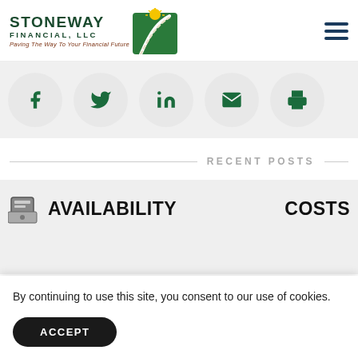[Figure (logo): Stoneway Financial LLC logo with green road/path icon and sun, text reading STONEWAY FINANCIAL, LLC, tagline Paving The Way To Your Financial Future]
[Figure (infographic): Hamburger menu icon (three dark horizontal lines) in the top right corner]
[Figure (infographic): Social media sharing icons row: Facebook (f), Twitter (bird), LinkedIn (in), Email (envelope), Print (printer) - each in a light grey circle on a light grey background bar]
RECENT POSTS
[Figure (infographic): Card section with icons and text showing AVAILABILITY and COSTS headings with related icons]
By continuing to use this site, you consent to our use of cookies.
ACCEPT